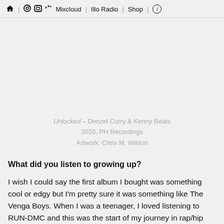Home | Spotify | Instagram | Twitter | Mixcloud | Illo Radio | Shop | (i)
[Figure (other): Album artwork area, blank/light gray background]
Unlocked – Denzel Curry & Kenny Beats
2020, PH Recordings
Artwork: Chris M. Wildon
What did you listen to growing up?
I wish I could say the first album I bought was something cool or edgy but I'm pretty sure it was something like The Venga Boys. When I was a teenager, I loved listening to RUN-DMC and this was the start of my journey in rap/hip